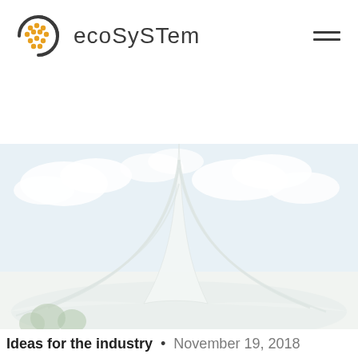[Figure (logo): Ecosystem logo: circular arc shape with orange dot pattern inside, next to the word 'ecosystem' in dark gray sans-serif text]
[Figure (photo): Exterior photo of the Montreal Olympic Stadium tower and roof structure with a blue sky and clouds in the background, washed out/light treatment]
Ideas for the industry  •  November 19, 2018